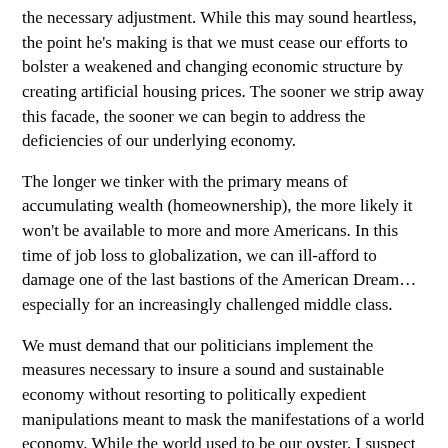the necessary adjustment. While this may sound heartless, the point he’s making is that we must cease our efforts to bolster a weakened and changing economic structure by creating artificial housing prices. The sooner we strip away this facade, the sooner we can begin to address the deficiencies of our underlying economy.
The longer we tinker with the primary means of accumulating wealth (homeownership), the more likely it won’t be available to more and more Americans. In this time of job loss to globalization, we can ill-afford to damage one of the last bastions of the American Dream…especially for an increasingly challenged middle class.
We must demand that our politicians implement the measures necessary to insure a sound and sustainable economy without resorting to politically expedient manipulations meant to mask the manifestations of a world economy. While the world used to be our oyster, I suspect our share of the pearls is destined to decline. Knowing this, I would suggest our leaders start by setting a better example with regards to fiscal responsibility. Lest we be buried by the shifting tides, it’s time for a sea-change.
Cross-posted at Thought Theater